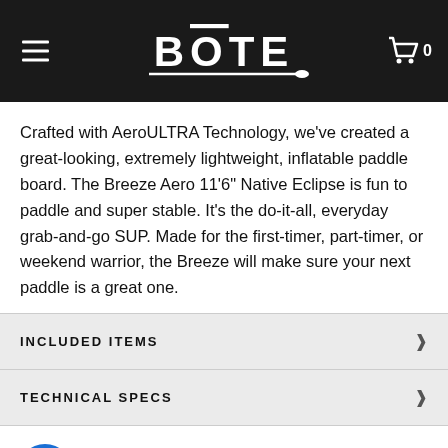BOTE — navigation header with hamburger menu and cart
Crafted with AeroULTRA Technology, we've created a great-looking, extremely lightweight, inflatable paddle board. The Breeze Aero 11'6" Native Eclipse is fun to paddle and super stable. It's the do-it-all, everyday grab-and-go SUP. Made for the first-timer, part-timer, or weekend warrior, the Breeze will make sure your next paddle is a great one.
INCLUDED ITEMS
TECHNICAL SPECS
[Figure (other): Accessibility icon button (blue circle with person icon) and two partial circular badge logos at the bottom of the page]